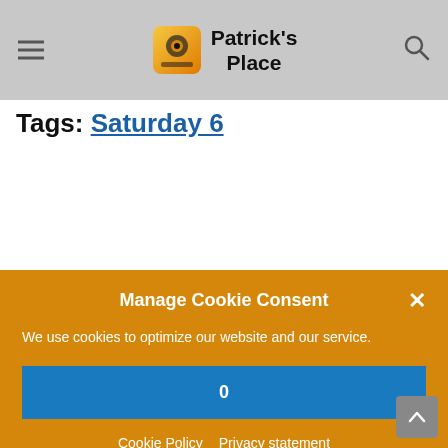Patrick's Place
Tags: Saturday 6
Manage Cookie Consent
We use cookies to optimize our website and our service.
0
Cookie Policy   Privacy statement
PATRICK
Patrick is a Christian with more than 30 years experience in professional writing, producing and marketing. His professional background also includes